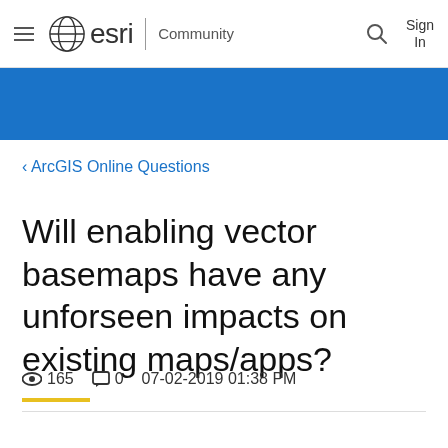esri Community | Sign In
‹ ArcGIS Online Questions
Will enabling vector basemaps have any unforseen impacts on existing maps/apps?
165 views  0 comments  07-02-2019 01:38 PM